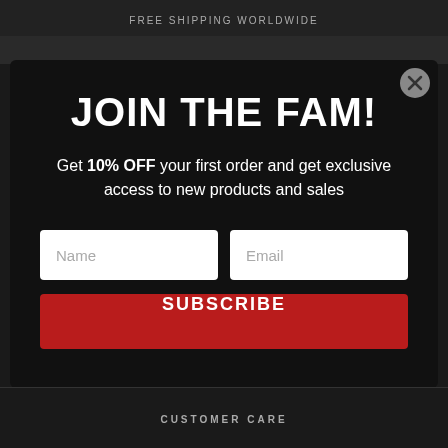FREE SHIPPING WORLDWIDE
JOIN THE FAM!
Get 10% OFF your first order and get exclusive access to new products and sales
Name
Email
SUBSCRIBE
CUSTOMER CARE